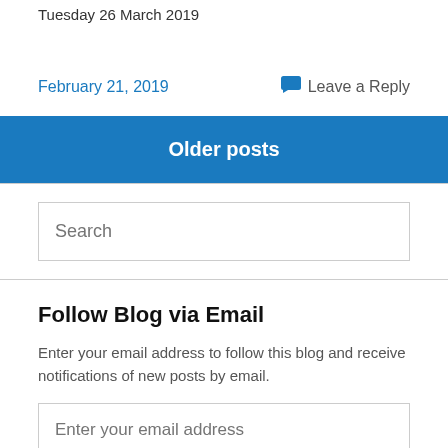Tuesday 26 March 2019
February 21, 2019    Leave a Reply
Older posts
Search
Follow Blog via Email
Enter your email address to follow this blog and receive notifications of new posts by email.
Enter your email address